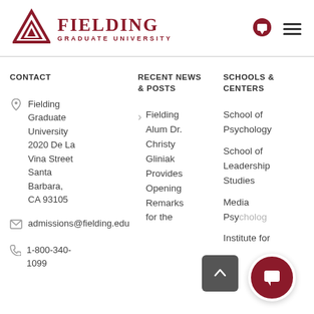[Figure (logo): Fielding Graduate University logo with triangle emblem and text]
CONTACT
RECENT NEWS & POSTS
SCHOOLS & CENTERS
Fielding Graduate University 2020 De La Vina Street Santa Barbara, CA 93105
admissions@fielding.edu
1-800-340-1099
Fielding Alum Dr. Christy Gliniak Provides Opening Remarks for the
School of Psychology
School of Leadership Studies
Media Psychology
Institute for